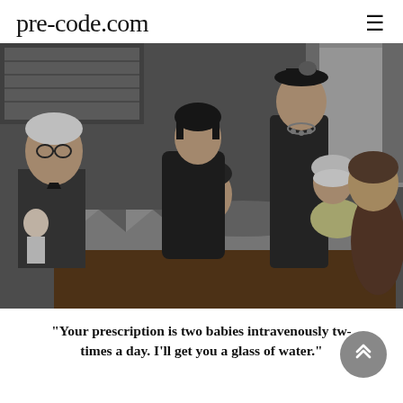pre-code.com
[Figure (photo): Black and white film still showing a woman lying in bed with a quilt, surrounded by several people including an older man with a bow tie holding a doll, a young woman leaning over her, a woman in a hat standing behind, a child in the bed, and another woman in the foreground with her back turned.]
"Your prescription is two babies intravenously tw- times a day. I'll get you a glass of water."